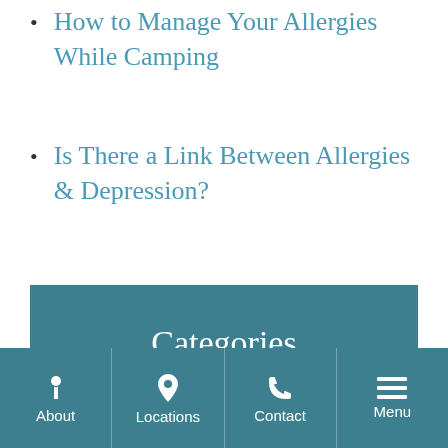How to Manage Your Allergies While Camping
Is There a Link Between Allergies & Depression?
Categories
Allergy
Balance
About  Locations  Contact  Menu